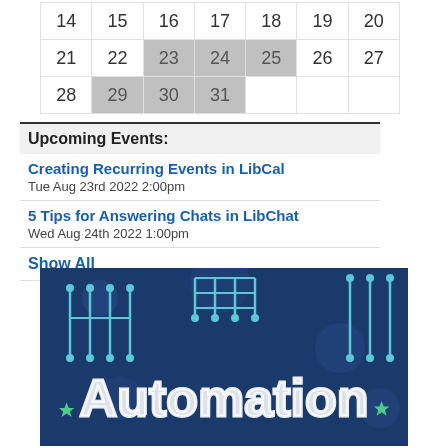| 14 | 15 | 16 | 17 | 18 | 19 | 20 |
| 21 | 22 | 23 | 24 | 25 | 26 | 27 |
| 28 | 29 | 30 | 31 |  |  |  |
Upcoming Events:
Creating Recurring Events in LibCal
Tue Aug 23rd 2022 2:00pm
5 Tips for Answering Chats in LibChat
Wed Aug 24th 2022 1:00pm
Show All
[Figure (illustration): Dark blue background with circuit board pattern illustration. Large white outlined text reading 'Automation' with green/teal star decorations visible at bottom. Circuit board lines and connection nodes in light blue/cyan on dark blue background.]